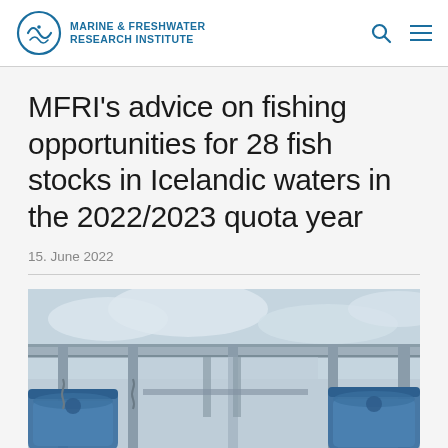MARINE & FRESHWATER RESEARCH INSTITUTE
MFRI's advice on fishing opportunities for 28 fish stocks in Icelandic waters in the 2022/2023 quota year
15. June 2022
[Figure (photo): Photograph of fishing vessel equipment — overhead structure with blue machinery/winches visible against a cloudy sky, taken from deck level looking up]